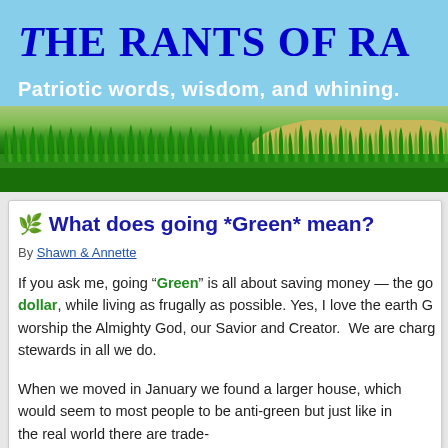The RAnts of RA
Patriotic words, wisdom, and whining.
[Figure (illustration): Green grass landscape banner with blue sky and yellow hill in background]
🌿 What does going *Green* mean?
By Shawn & Annette
If you ask me, going "Green" is all about saving money — the go dollar, while living as frugally as possible. Yes, I love the earth G worship the Almighty God, our Savior and Creator. We are charg stewards in all we do.
When we moved in January we found a larger house, which would seem to most people to be anti-green but just like in the real world there are trade-offs. Private property and living and C...